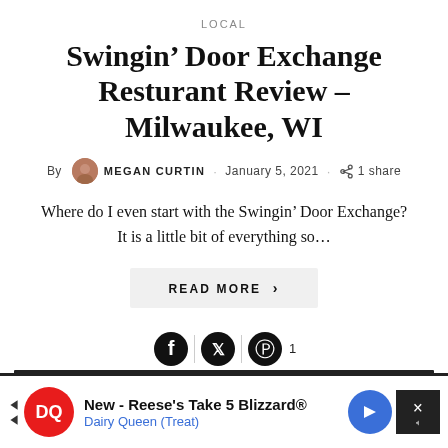LOCAL
Swingin’ Door Exchange Resturant Review – Milwaukee, WI
By MEGAN CURTIN · January 5, 2021 · 1 share
Where do I even start with the Swingin’ Door Exchange? It is a little bit of everything so…
READ MORE >
[Figure (infographic): Social sharing icons: Facebook, Twitter, Pinterest with count 1]
[Figure (infographic): Dairy Queen advertisement banner: New - Reese's Take 5 Blizzard®, Dairy Queen (Treat)]